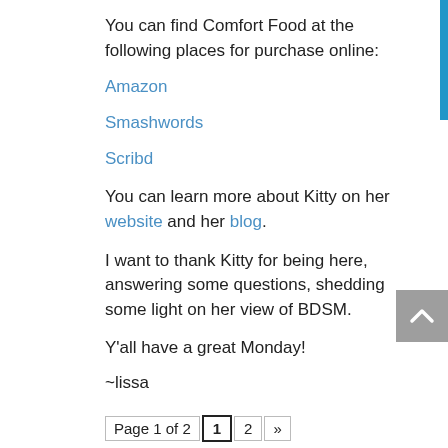You can find Comfort Food at the following places for purchase online:
Amazon
Smashwords
Scribd
You can learn more about Kitty on her website and her blog.
I want to thank Kitty for being here, answering some questions, shedding some light on her view of BDSM.
Y'all have a great Monday!
~lissa
Page 1 of 2  1  2  »